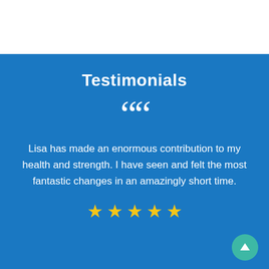Testimonials
Lisa has made an enormous contribution to my health and strength. I have seen and felt the most fantastic changes in an amazingly short time.
[Figure (illustration): Five gold star rating icons in a row]